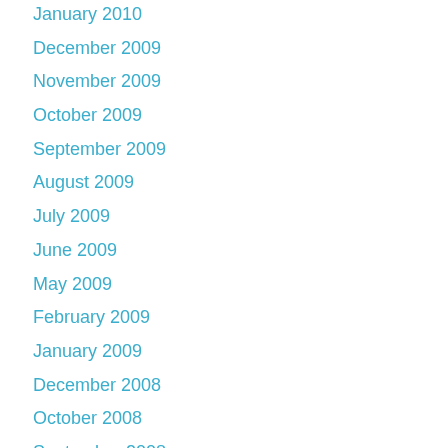January 2010
December 2009
November 2009
October 2009
September 2009
August 2009
July 2009
June 2009
May 2009
February 2009
January 2009
December 2008
October 2008
September 2008